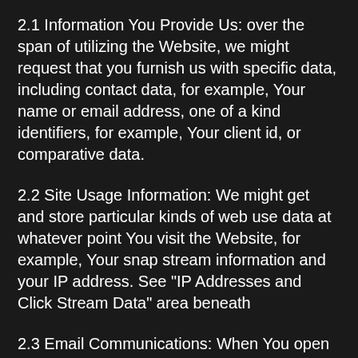2.1 Information You Provide Us: over the span of utilizing the Website, we might request that you furnish us with specific data, including contact data, for example, Your name or email address, one of a kind identifiers, for example, Your client id, or comparative data.
2.2 Site Usage Information: We might get and store particular kinds of web use data at whatever point You visit the Website, for example, Your snap stream information and your IP address. See "IP Addresses and Click Stream Data" area beneath
2.3 Email Communications: When You open messages from Us, we might get an affirmation taking note of You opened the email, if Your PC supports such